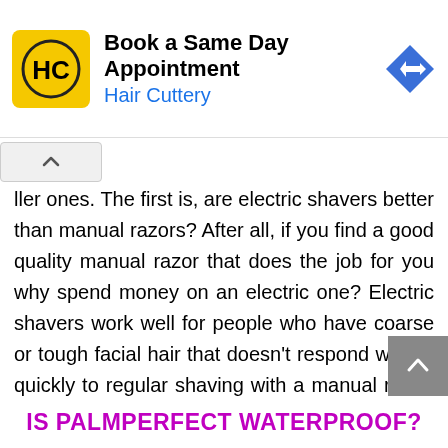[Figure (screenshot): Hair Cuttery advertisement banner with yellow logo showing 'HC', text 'Book a Same Day Appointment' and 'Hair Cuttery', and a blue diamond arrow icon on the right.]
ller ones. The first is, are electric shavers better than manual razors? After all, if you find a good quality manual razor that does the job for you why spend money on an electric one? Electric shavers work well for people who have coarse or tough facial hair that doesn’t respond well or quickly to regular shaving with a manual razor. People with fine light-colored facial hair often do not need electric shavers as they can shave just as close by using a good manual razor. The disposable type of cartridge razors is excellent at keeping your skin smooth and bump-free but may require multiple passes to get closer so some men have come to the conclusion that paying more for expensive replacement.
IS PALMPERFECT WATERPROOF?